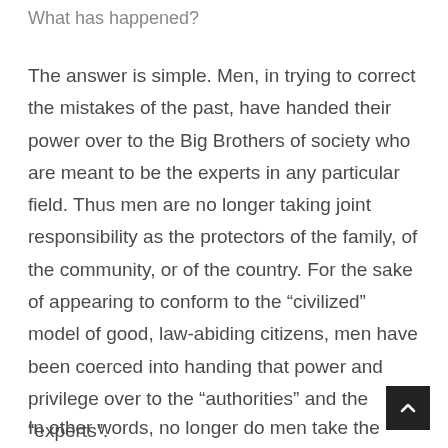What has happened?
The answer is simple. Men, in trying to correct the mistakes of the past, have handed their power over to the Big Brothers of society who are meant to be the experts in any particular field. Thus men are no longer taking joint responsibility as the protectors of the family, of the community, or of the country. For the sake of appearing to conform to the “civilized” model of good, law-abiding citizens, men have been coerced into handing that power and privilege over to the “authorities” and the “experts”.
In other words, no longer do men take the lead